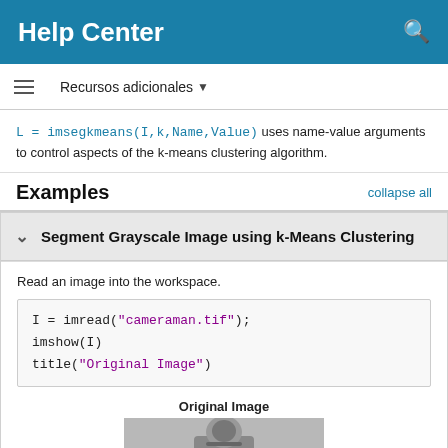Help Center
Recursos adicionales
L = imsegkmeans(I,k,Name,Value) uses name-value arguments to control aspects of the k-means clustering algorithm.
Examples
Segment Grayscale Image using k-Means Clustering
Read an image into the workspace.
I = imread("cameraman.tif");
imshow(I)
title("Original Image")
Original Image
[Figure (photo): Grayscale photo of cameraman (Original Image)]